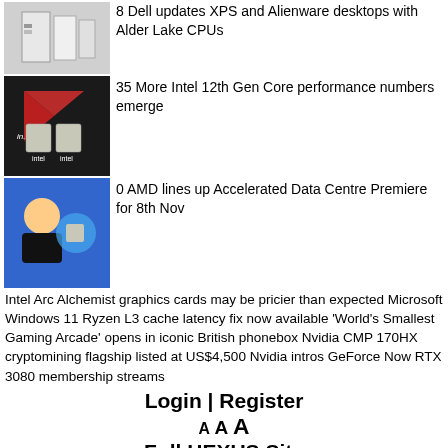8 Dell updates XPS and Alienware desktops with Alder Lake CPUs
35 More Intel 12th Gen Core performance numbers emerge
0 AMD lines up Accelerated Data Centre Premiere for 8th Nov
Intel Arc Alchemist graphics cards may be pricier than expected Microsoft Windows 11 Ryzen L3 cache latency fix now available 'World's Smallest Gaming Arcade' opens in iconic British phonebox Nvidia CMP 170HX cryptomining flagship listed at US$4,500 Nvidia intros GeForce Now RTX 3080 membership streams
Login | Register
A A A
Full HEXUS Site
About Us - Contact Us - Advertise - T&Cs
Copyright © 1998 - 2022, HEXUS.net. All rights reserved. HEXUS® is a registered trademark of HEXUS.